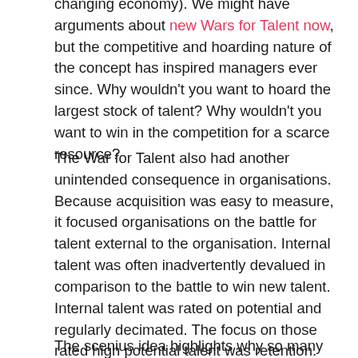changing economy). We might have arguments about new Wars for Talent now, but the competitive and hoarding nature of the concept has inspired managers ever since. Why wouldn't you want to hoard the largest stock of talent? Why wouldn't you want to win in the competition for a scarce resource?
The War for Talent also had another unintended consequence in organisations. Because acquisition was easy to measure, it focused organisations on the battle for talent external to the organisation. Internal talent was often inadvertently devalued in comparison to the battle to win new talent. Internal talent was rated on potential and regularly decimated. The focus on those rated high potential talent was retention. For the middle range there was little focus on deployment, development or growth in potential.
The scenius idea highlights why so many organisations